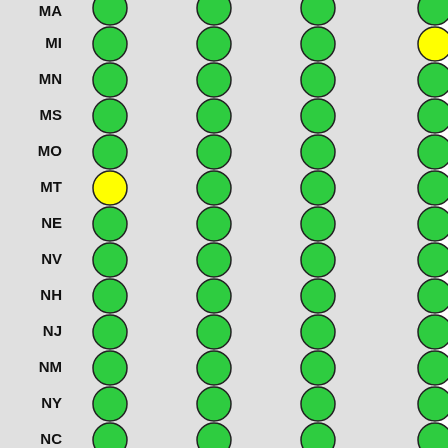[Figure (infographic): A status table showing US states (MA partial, MI, MN, MS, MO, MT, NE, NV, NH, NJ, NM, NY, NC) with colored dot indicators (green or yellow) across multiple columns. MT row 1 and MI row 4 have yellow dots; all others are green. The left ~43% of the page is a gray panel.]